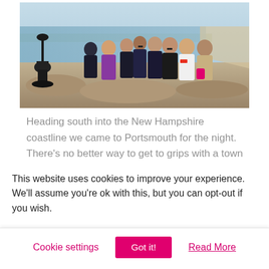[Figure (photo): Group of approximately 10-11 people standing together outdoors on rocky coastal ground. A coin-operated telescope/binocular viewer is visible on the left. The background shows a grey-blue ocean/bay and overland area. People are dressed in winter/spring clothing including purple, black, white, and beige jackets.]
Heading south into the New Hampshire coastline we came to Portsmouth for the night. There's no better way to get to grips with a town than as part of a foodie walking tour, and Portsmouth with it charm and personality didn't
This website uses cookies to improve your experience. We'll assume you're ok with this, but you can opt-out if you wish.